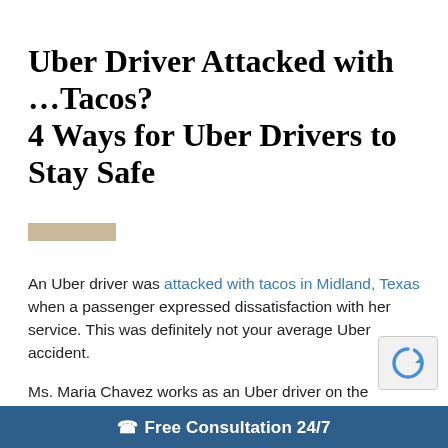Uber Driver Attacked with …Tacos? 4 Ways for Uber Drivers to Stay Safe
An Uber driver was attacked with tacos in Midland, Texas when a passenger expressed dissatisfaction with her service. This was definitely not your average Uber accident.
Ms. Maria Chavez works as an Uber driver on the weekends. At one point, she picked up a passenger and her friend who both appeared intoxicated. The two people had cartons of food that they brought into her vehicle as well. The passengers rode for a while but then asked that Ms. Chavez turn around and go back to a bar to pick up their friends. When Ms. Chavez refused, the passengers pelleted her with their fast food — tacos! Authorities released pho
Free Consultation 24/7